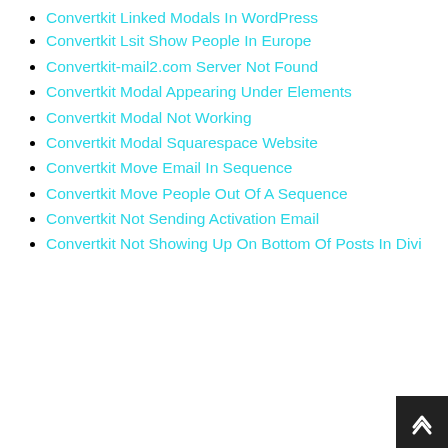Convertkit Linked Modals In WordPress
Convertkit Lsit Show People In Europe
Convertkit-mail2.com Server Not Found
Convertkit Modal Appearing Under Elements
Convertkit Modal Not Working
Convertkit Modal Squarespace Website
Convertkit Move Email In Sequence
Convertkit Move People Out Of A Sequence
Convertkit Not Sending Activation Email
Convertkit Not Showing Up On Bottom Of Posts In Divi